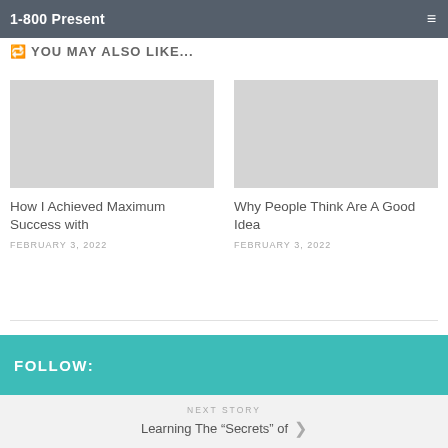1-800 Present
YOU MAY ALSO LIKE...
[Figure (photo): Placeholder image card 1 - gray rectangle]
How I Achieved Maximum Success with
FEBRUARY 3, 2022
[Figure (photo): Placeholder image card 2 - gray rectangle]
Why People Think Are A Good Idea
FEBRUARY 3, 2022
FOLLOW:
NEXT STORY
Learning The “Secrets” of